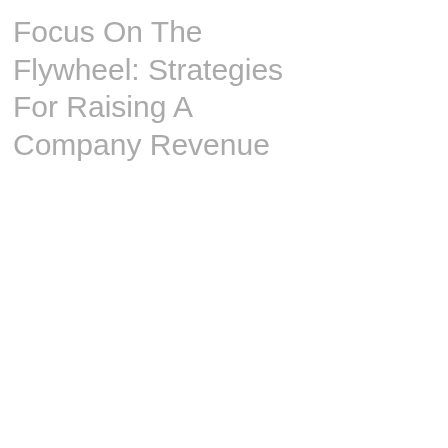Focus On The Flywheel: Strategies For Raising A Company Revenue